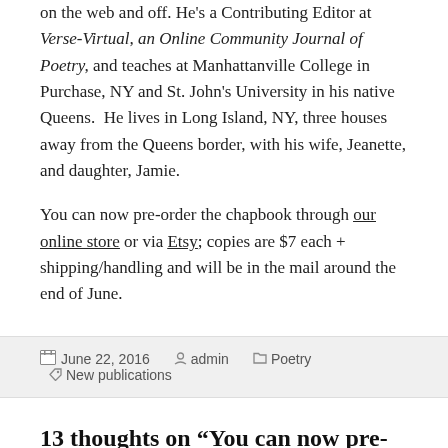on the web and off. He's a Contributing Editor at Verse-Virtual, an Online Community Journal of Poetry, and teaches at Manhattanville College in Purchase, NY and St. John's University in his native Queens. He lives in Long Island, NY, three houses away from the Queens border, with his wife, Jeanette, and daughter, Jamie.
You can now pre-order the chapbook through our online store or via Etsy; copies are $7 each + shipping/handling and will be in the mail around the end of June.
June 22, 2016  admin  Poetry  New publications
13 thoughts on “You can now pre-order EXACTLY LIKE LOVE by Alan Walowitz!”